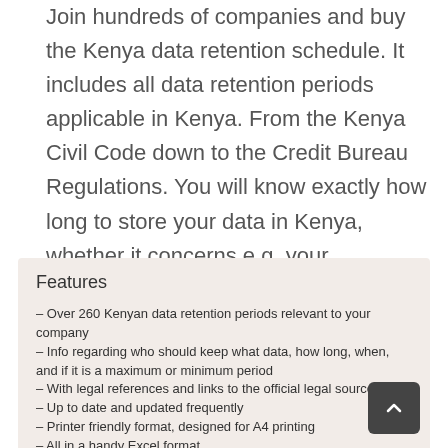Join hundreds of companies and buy the Kenya data retention schedule. It includes all data retention periods applicable in Kenya. From the Kenya Civil Code down to the Credit Bureau Regulations. You will know exactly how long to store your data in Kenya, whether it concerns e.g. your accounting, fiscal, HR, CRM, or personal data.
Features
– Over 260 Kenyan data retention periods relevant to your company
– Info regarding who should keep what data, how long, when, and if it is a maximum or minimum period
– With legal references and links to the official legal source
– Up to date and updated frequently
– Printer friendly format, designed for A4 printing
– All in a handy Excel format